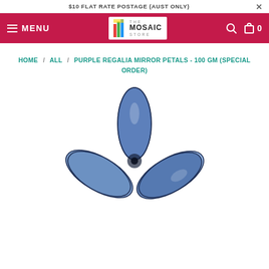$10 FLAT RATE POSTAGE (AUST ONLY)
[Figure (screenshot): E-commerce website navigation bar with hamburger menu labeled MENU, The Mosaic Store logo in center, search and cart icons on right, on a crimson/pink background]
HOME / ALL / PURPLE REGALIA MIRROR PETALS - 100 GM (SPECIAL ORDER)
[Figure (photo): Six purple/blue mirrored glass petal shapes arranged in a flower pattern on a white background]